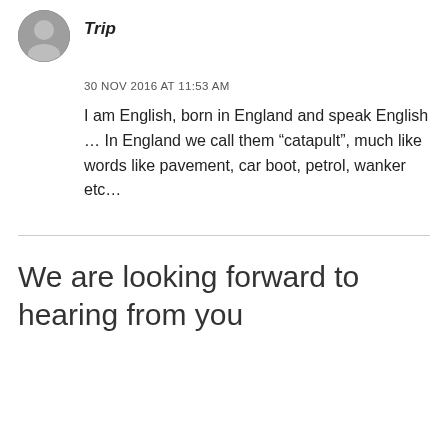[Figure (photo): Circular avatar photo of a person]
Trip
30 NOV 2016 AT 11:53 AM
I am English, born in England and speak English … In England we call them “catapult”, much like words like pavement, car boot, petrol, wanker etc…
We are looking forward to hearing from you